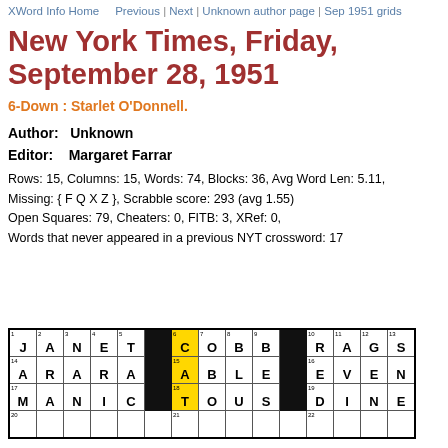XWord Info Home   Previous  |  Next  |  Unknown author page  |  Sep 1951 grids
New York Times, Friday, September 28, 1951
6-Down : Starlet O'Donnell.
Author:  Unknown
Editor:   Margaret Farrar
Rows: 15, Columns: 15, Words: 74, Blocks: 36, Avg Word Len: 5.11, Missing: { F Q X Z }, Scrabble score: 293 (avg 1.55)
Open Squares: 79, Cheaters: 0, FITB: 3, XRef: 0,
Words that never appeared in a previous NYT crossword: 17
[Figure (other): Crossword puzzle grid partial view showing rows with letters: Row 1: J A N E T [black] C O B B [black] R A G S; Row 14: A R A R A [black] A B L E [black] E V E N; Row 17: M A N I C [black] T O U S [black] D I N E; partial Row 20 and 21 visible]